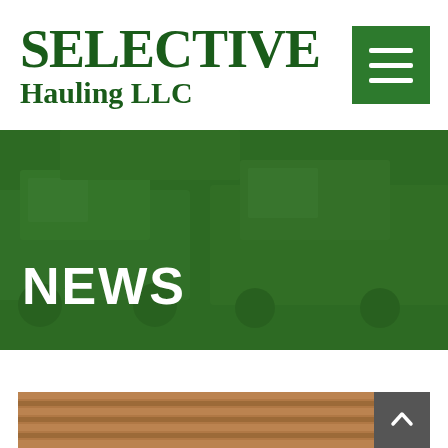[Figure (logo): Selective Hauling LLC green serif logo with hamburger menu button on the right]
[Figure (photo): Hero banner showing trucks in background with dark green overlay and 'NEWS' heading text]
[Figure (photo): Bottom partial image strip showing what appears to be a corrugated metal or roof surface, with a scroll-to-top button on the right]